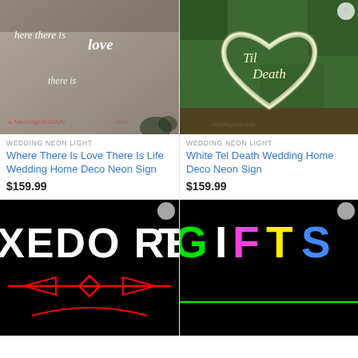[Figure (photo): Neon sign reading 'where there is love' on a wall, website watermark visible]
WEDDING NEON LIGHT
Where There Is Love There Is Life Wedding Home Deco Neon Sign
$159.99
[Figure (photo): White neon sign reading 'Til Death' inside a heart shape on a green hedge background]
WEDDING NEON LIGHT
White Tel Death Wedding Home Deco Neon Sign
$159.99
[Figure (photo): Black background neon sign showing 'XEDO RENT' in white letters with red neon decoration]
[Figure (photo): Black background neon sign showing 'GIFTS' in multicolor (green, white, pink, yellow, blue) neon letters]